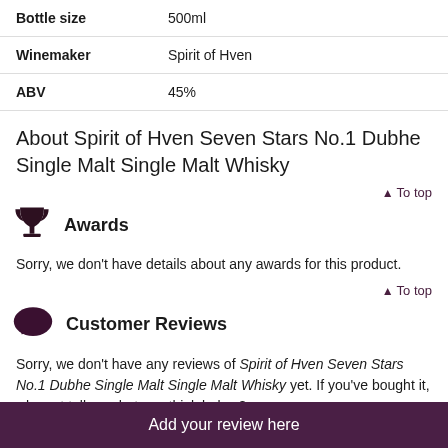| Bottle size | 500ml |
| Winemaker | Spirit of Hven |
| ABV | 45% |
About Spirit of Hven Seven Stars No.1 Dubhe Single Malt Single Malt Whisky
To top
Awards
Sorry, we don't have details about any awards for this product.
To top
Customer Reviews
Sorry, we don't have any reviews of Spirit of Hven Seven Stars No.1 Dubhe Single Malt Single Malt Whisky yet. If you've bought it, why not tell us what you think below?
Add your review here